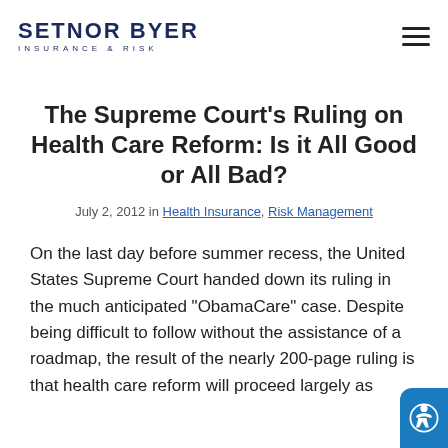SETNOR BYER INSURANCE & RISK
The Supreme Court's Ruling on Health Care Reform: Is it All Good or All Bad?
July 2, 2012 in Health Insurance, Risk Management
On the last day before summer recess, the United States Supreme Court handed down its ruling in the much anticipated "ObamaCare" case. Despite being difficult to follow without the assistance of a roadmap, the result of the nearly 200-page ruling is that health care reform will proceed largely as